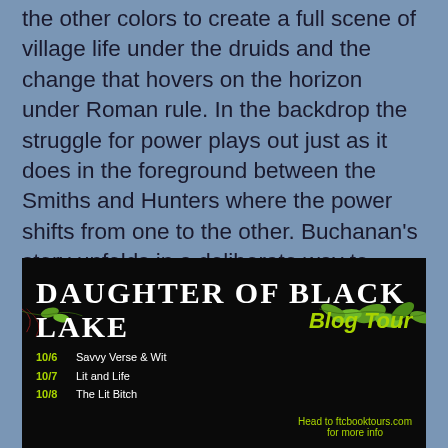the other colors to create a full scene of village life under the druids and the change that hovers on the horizon under Roman rule. In the backdrop the struggle for power plays out just as it does in the foreground between the Smiths and Hunters where the power shifts from one to the other. Buchanan's story unfolds in a deliberate way to immerse the reader in this ancient time when even writing was not done and knowledge was passed from person to person. Daughter of Black Lake by Cathy Marie Buchanan is a struggle for survival amid a world of secrets and lies, political gains and losses, and magic.
[Figure (other): Blog Tour banner for 'Daughter of Black Lake' by Cathy Marie Buchanan. Black background with green leaf decorations. Title in large white uppercase serif font. 'Blog Tour' in yellow-green italic. Schedule listing: 10/6 Savvy Verse & Wit, 10/7 Lit and Life, 10/8 The Lit Bitch. Bottom right: Head to ftcbooktours.com for more info.]